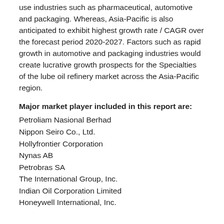use industries such as pharmaceutical, automotive and packaging. Whereas, Asia-Pacific is also anticipated to exhibit highest growth rate / CAGR over the forecast period 2020-2027. Factors such as rapid growth in automotive and packaging industries would create lucrative growth prospects for the Specialties of the lube oil refinery market across the Asia-Pacific region.
Major market player included in this report are:
Petroliam Nasional Berhad
Nippon Seiro Co., Ltd.
Hollyfrontier Corporation
Nynas AB
Petrobras SA
The International Group, Inc.
Indian Oil Corporation Limited
Honeywell International, Inc.